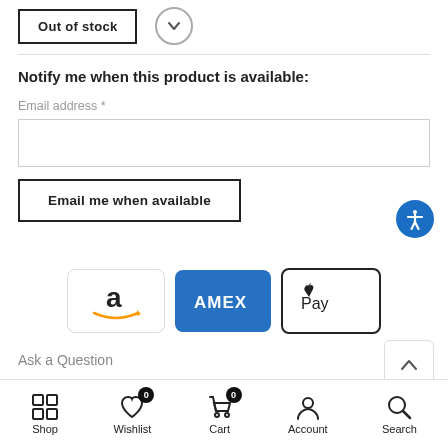[Figure (screenshot): Partially cropped 'Out of stock' button with a chevron/dropdown circle icon]
Notify me when this product is available:
Email address *
[Figure (other): Email me when available button and accessibility icon]
[Figure (other): Payment method icons: Amazon Pay, AMEX, Apple Pay]
Ask a Question
Shop  Wishlist 0  Cart 0  Account  Search